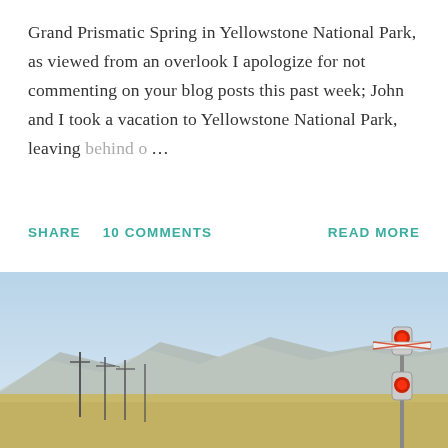Grand Prismatic Spring in Yellowstone National Park, as viewed from an overlook I apologize for not commenting on your blog posts this past week; John and I took a vacation to Yellowstone National Park, leaving behind o… …
SHARE   10 COMMENTS   READ MORE
[Figure (photo): Outdoor landscape photograph showing arid terrain with low scrubby vegetation, rolling hills/mountains in the background under a clear pale blue sky. On the right side is a railroad crossing signal with red circular lights on a metal post.]